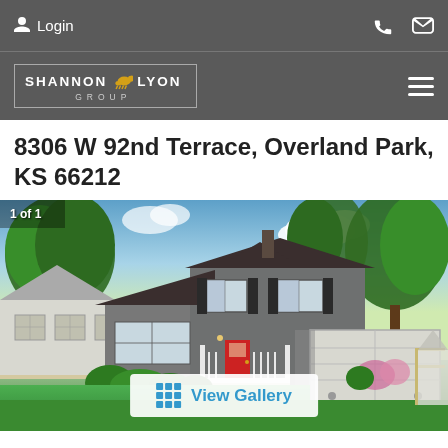Login
[Figure (logo): Shannon Lyon Group logo with golden dog silhouette inside a rectangular border]
8306 W 92nd Terrace, Overland Park, KS 66212
[Figure (photo): Exterior photo of a two-story gray house with red front door, white porch railing, two-car garage, lush green lawn and large trees. Label: 1 of 1. Button: View Gallery.]